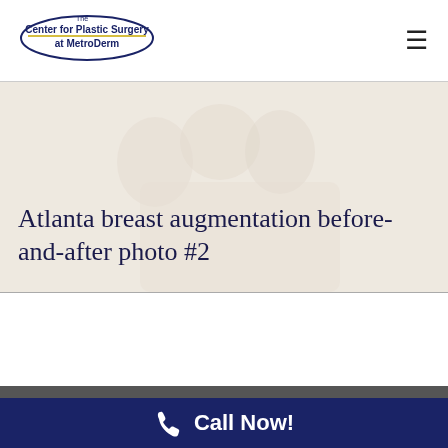The Center for Plastic Surgery at MetroDerm
[Figure (photo): Faded background photo of women posing together, used as hero banner background]
Atlanta breast augmentation before-and-after photo #2
Call Now!